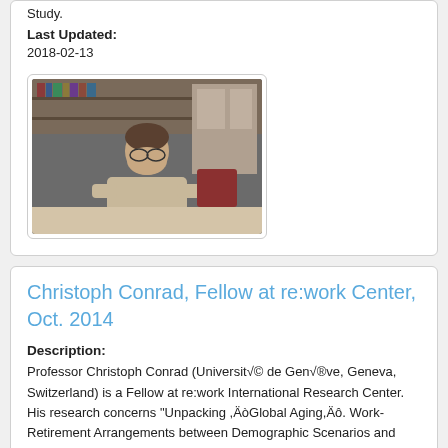Study.
Last Updated:
2018-02-13
[Figure (photo): Photo of a man seated at a table in front of bookshelves]
Christoph Conrad, Fellow at re:work Center, Oct. 2014
Description:
Professor Christoph Conrad (Universit√© de Gen√®ve, Geneva, Switzerland) is a Fellow at re:work International Research Center. His research concerns "Unpacking ,ÄòGlobal Aging,Äô. Work-Retirement Arrangements between Demographic Scenarios and Welfare Regimes".
Creator: